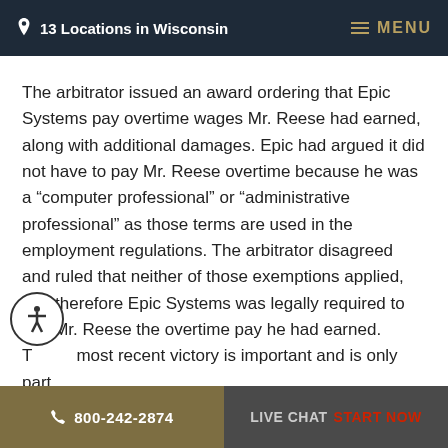13 Locations in Wisconsin   MENU
The arbitrator issued an award ordering that Epic Systems pay overtime wages Mr. Reese had earned, along with additional damages. Epic had argued it did not have to pay Mr. Reese overtime because he was a “computer professional” or “administrative professional” as those terms are used in the employment regulations. The arbitrator disagreed and ruled that neither of those exemptions applied, and therefore Epic Systems was legally required to pay Mr. Reese the overtime pay he had earned. T most recent victory is important and is only part ongoing litigation against Epic Systems. In
800-242-2874   LIVE CHAT   START NOW